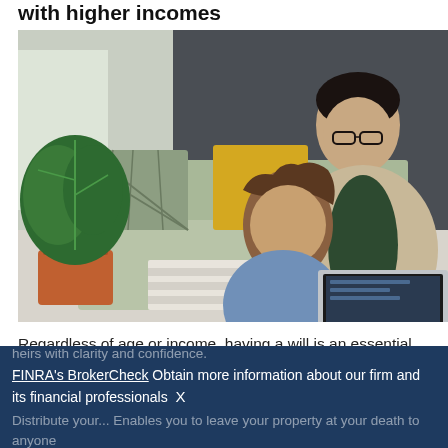with higher incomes
[Figure (photo): A father and child sitting on the floor of a living room, looking at a laptop together. There is a green plant in a terracotta pot, a pale green sofa with plaid and yellow pillows in the background.]
Regardless of age or income, having a will is an essential step to pass your assets to your heirs with clarity and confidence. Distribute your... Enables you to leave your property at your death to anyone
FINRA's BrokerCheck Obtain more information about our firm and its financial professionals X